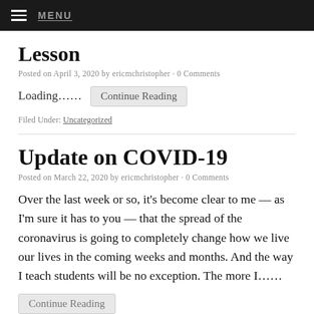≡ MENU
Lesson
Posted on April 3, 2020 by ericmchristopher · 0 Comments
Loading……  Continue Reading
Filed Under: Uncategorized
Update on COVID-19
Posted on March 22, 2020 by ericmchristopher · 0 Comments
Over the last week or so, it's become clear to me — as I'm sure it has to you — that the spread of the coronavirus is going to completely change how we live our lives in the coming weeks and months. And the way I teach students will be no exception. The more I……
Continue Reading